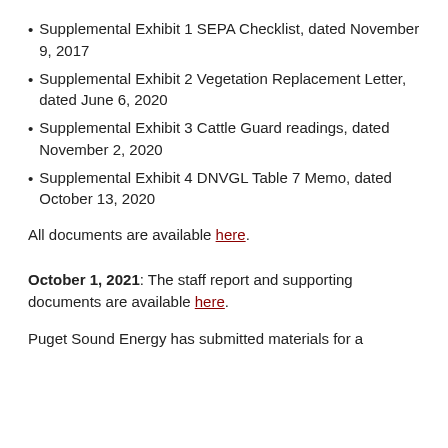Supplemental Exhibit 1 SEPA Checklist, dated November 9, 2017
Supplemental Exhibit 2 Vegetation Replacement Letter, dated June 6, 2020
Supplemental Exhibit 3 Cattle Guard readings, dated November 2, 2020
Supplemental Exhibit 4 DNVGL Table 7 Memo, dated October 13, 2020
All documents are available here.
October 1, 2021: The staff report and supporting documents are available here.
Puget Sound Energy has submitted materials for a